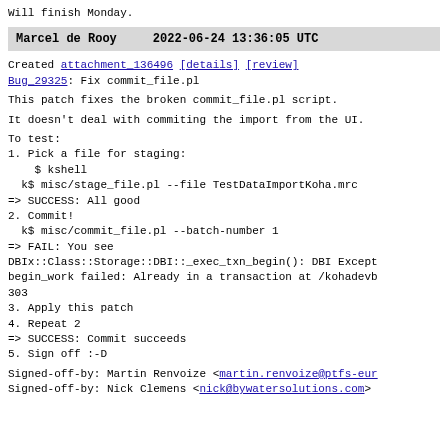Will finish Monday.
Marcel de Rooy    2022-06-24 13:36:05 UTC
Created attachment_136496 [details] [review]
Bug_29325: Fix commit_file.pl
This patch fixes the broken commit_file.pl script.
It doesn't deal with commiting the import from the UI.
To test:
1. Pick a file for staging:
    $ kshell
  k$ misc/stage_file.pl --file TestDataImportKoha.mrc
=> SUCCESS: All good
2. Commit!
  k$ misc/commit_file.pl --batch-number 1
=> FAIL: You see
DBIx::Class::Storage::DBI::_exec_txn_begin(): DBI Except
begin_work failed: Already in a transaction at /kohadevb
303
3. Apply this patch
4. Repeat 2
=> SUCCESS: Commit succeeds
5. Sign off :-D
Signed-off-by: Martin Renvoize <martin.renvoize@ptfs-eur
Signed-off-by: Nick Clemens <nick@bywatersolutions.com>